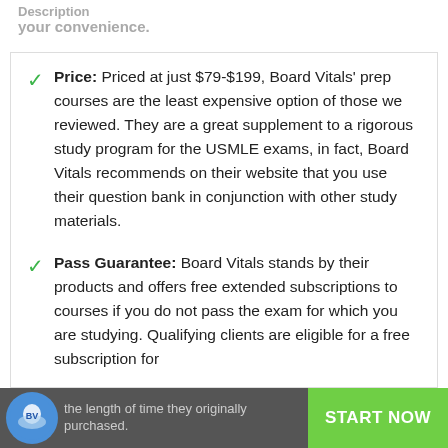Description
your convenience.
Price: Priced at just $79-$199, Board Vitals' prep courses are the least expensive option of those we reviewed. They are a great supplement to a rigorous study program for the USMLE exams, in fact, Board Vitals recommends on their website that you use their question bank in conjunction with other study materials.
Pass Guarantee: Board Vitals stands by their products and offers free extended subscriptions to courses if you do not pass the exam for which you are studying. Qualifying clients are eligible for a free subscription for the length of time they originally purchased.
the length of time they originally purchased. START NOW